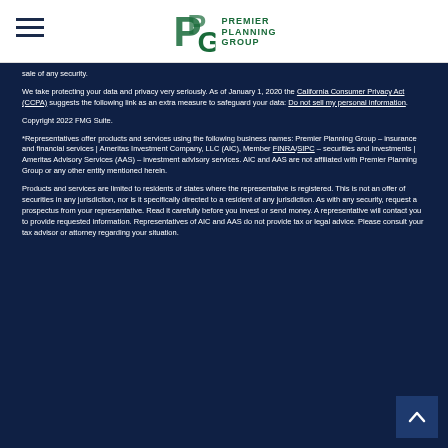Premier Planning Group
sale of any security.
We take protecting your data and privacy very seriously. As of January 1, 2020 the California Consumer Privacy Act (CCPA) suggests the following link as an extra measure to safeguard your data: Do not sell my personal information.
Copyright 2022 FMG Suite.
*Representatives offer products and services using the following business names: Premier Planning Group – insurance and financial services | Ameritas Investment Company, LLC (AIC), Member FINRA/SIPC – securities and investments | Ameritas Advisory Services (AAS) – investment advisory services. AIC and AAS are not affiliated with Premier Planning Group or any other entity mentioned herein.
Products and services are limited to residents of states where the representative is registered. This is not an offer of securities in any jurisdiction, nor is it specifically directed to a resident of any jurisdiction. As with any security, request a prospectus from your representative. Read it carefully before you invest or send money. A representative will contact you to provide requested information. Representatives of AIC and AAS do not provide tax or legal advice. Please consult your tax advisor or attorney regarding your situation.